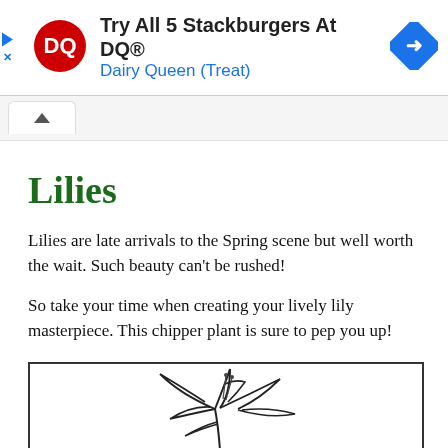[Figure (other): Dairy Queen advertisement banner with DQ logo, text 'Try All 5 Stackburgers At DQ®' and 'Dairy Queen (Treat)', and a blue navigation arrow icon]
Lilies
Lilies are late arrivals to the Spring scene but well worth the wait.  Such beauty can't be rushed!
So take your time when creating your lively lily masterpiece.  This chipper plant is sure to pep you up!
[Figure (illustration): Line drawing illustration of a lily flower, partially shown, black and white outline style]